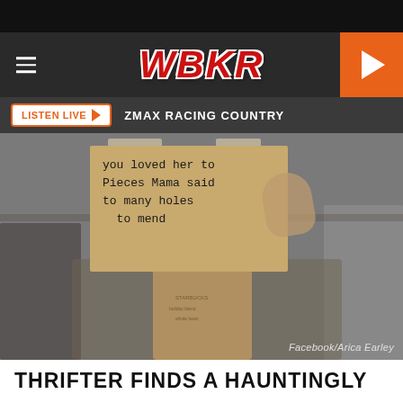[Figure (screenshot): WBKR radio station website screenshot showing navigation bar with hamburger menu, WBKR logo in red italic, orange play button, Listen Live bar with ZMAX Racing Country text, and a photo of a handwritten cardboard sign reading 'you loved her to Pieces Mama said to many holes to mend' with Facebook/Arica Earley photo credit]
Facebook/Arica Earley
THRIFTER FINDS A HAUNTINGLY